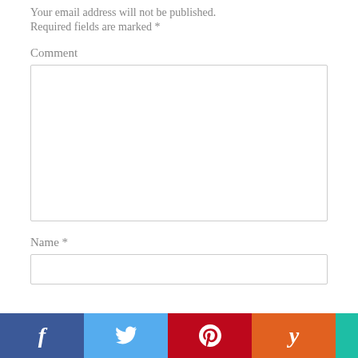Your email address will not be published.
Required fields are marked *
Comment
Name *
[Figure (screenshot): Social media share bar with Facebook (blue), Twitter (light blue), Pinterest (red), and Yummly (orange) buttons, each showing their respective icons in white.]